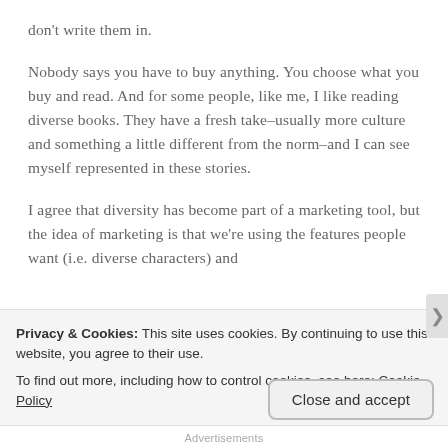don't write them in.
Nobody says you have to buy anything. You choose what you buy and read. And for some people, like me, I like reading diverse books. They have a fresh take–usually more culture and something a little different from the norm–and I can see myself represented in these stories.
I agree that diversity has become part of a marketing tool, but the idea of marketing is that we're using the features people want (i.e. diverse characters) and
Privacy & Cookies: This site uses cookies. By continuing to use this website, you agree to their use.
To find out more, including how to control cookies, see here: Cookie Policy
Close and accept
Advertisements